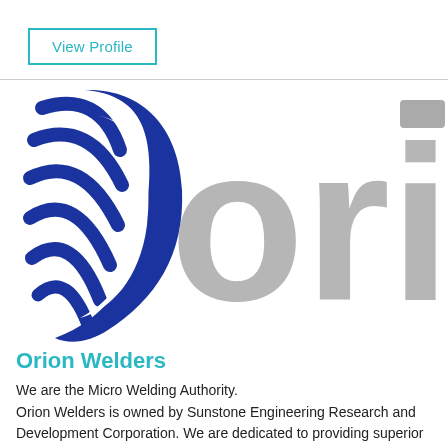View Profile
[Figure (logo): Orion Welders logo: blue crescent/feather mark on the left, large grey stylized text 'ori' on the right, partially cropped]
Orion Welders
We are the Micro Welding Authority. Orion Welders is owned by Sunstone Engineering Research and Development Corporation. We are dedicated to providing superior technical products at